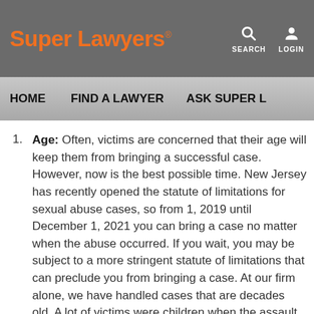Super Lawyers
HOME   FIND A LAWYER   ASK SUPER L...
Age: Often, victims are concerned that their age will keep them from bringing a successful case. However, now is the best possible time. New Jersey has recently opened the statute of limitations for sexual abuse cases, so from 1, 2019 until December 1, 2021 you can bring a case no matter when the abuse occurred. If you wait, you may be subject to a more stringent statute of limitations that can preclude you from bringing a case. At our firm alone, we have handled cases that are decades old. A lot of victims were children when the assault occurred, and it can take a lifetime to realize that they are victims and have residual effects. Age has nothing to do with the